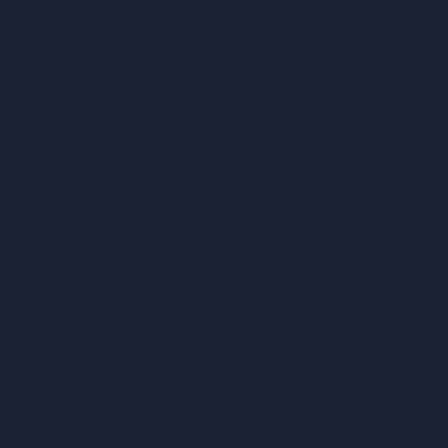September 23, 2020 at 4...
Unknown said...
Sounds like a nice kid. G... Georgia.
What concerns me is our...
I don't think Ohio State,...
3 star recruits

I'm guessing he turns in...
September 23, 2020 at 6...
Cormac said...
On the bright side, at lea... clown.
September 23, 2020 at 6...
MichiganMan said...
I'm here I'm just reading....